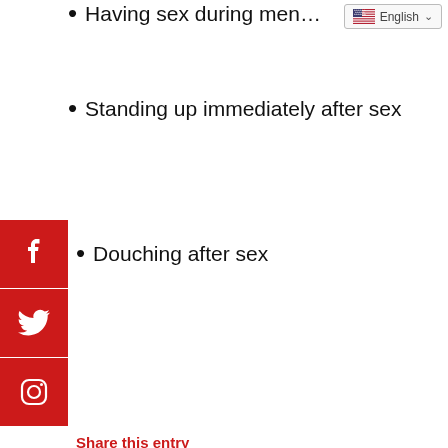Having sex during men…
Standing up immediately after sex
Douching after sex
Share this entry
[Figure (infographic): Social share icons: Facebook, Twitter, WhatsApp, Pinterest, LinkedIn, Tumblr, VK, Reddit, Email]
[Figure (other): Language selector showing English with US flag]